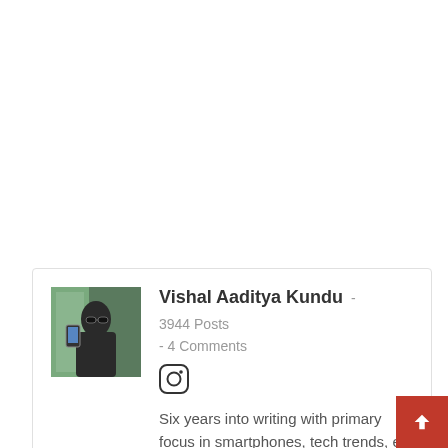[Figure (photo): Profile photo of Vishal Aaditya Kundu, a man with sunglasses taking a selfie]
Vishal Aaditya Kundu
3944 Posts
4 Comments
[Figure (logo): Instagram icon/logo]
Six years into writing with primary focus in smartphones, tech trends, e-commerce, telecom, consumer tech, internet, social media